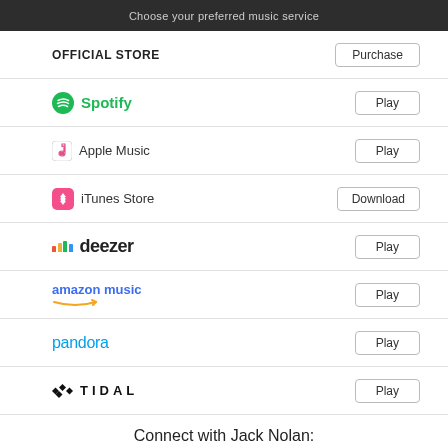Choose your preferred music service
OFFICIAL STORE — Purchase
Spotify — Play
Apple Music — Play
iTunes Store — Download
deezer — Play
amazon music — Play
pandora — Play
TIDAL — Play
Connect with Jack Nolan: